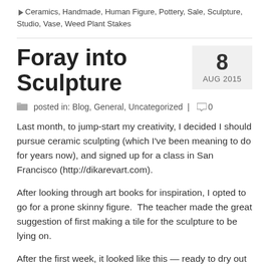Ceramics, Handmade, Human Figure, Pottery, Sale, Sculpture, Studio, Vase, Weed Plant Stakes
Foray into Sculpture
8 AUG 2015
posted in: Blog, General, Uncategorized | 0
Last month, to jump-start my creativity, I decided I should pursue ceramic sculpting (which I've been meaning to do for years now), and signed up for a class in San Francisco (http://dikarevart.com).
After looking through art books for inspiration, I opted to go for a prone skinny figure.  The teacher made the great suggestion of first making a tile for the sculpture to be lying on.
After the first week, it looked like this — ready to dry out and fired at Cone 04.
[Figure (photo): Partial view of a ceramic sculpture tile, shown at the bottom of the page]